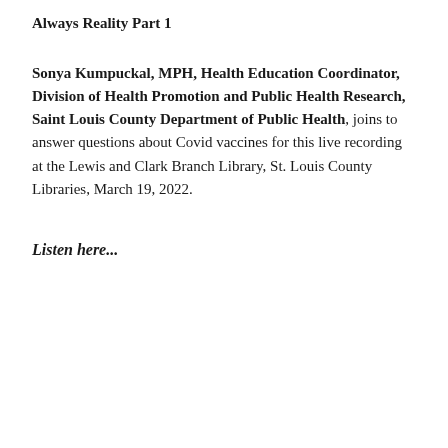Always Reality Part 1
Sonya Kumpuckal, MPH, Health Education Coordinator, Division of Health Promotion and Public Health Research, Saint Louis County Department of Public Health, joins to answer questions about Covid vaccines for this live recording at the Lewis and Clark Branch Library, St. Louis County Libraries, March 19, 2022.
Listen here...